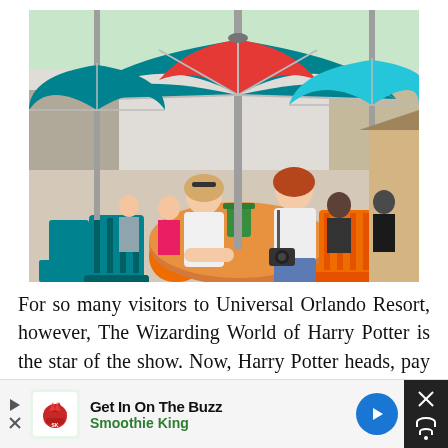[Figure (photo): Outdoor restaurant/dining area at Universal Orlando Resort with colorful teal and orange furniture, large teal and red patio umbrellas, and two women sitting at a round wooden table. Background shows a busy crowd of visitors.]
For so many visitors to Universal Orlando Resort, however, The Wizarding World of Harry Potter is the star of the show. Now, Harry Potter heads, pay attention, because this is important. The truly breathtaking Diagon Alley is located in Universal
[Figure (other): Advertisement banner: 'Get In On The Buzz - Smoothie King' with play button, Smoothie King logo, blue arrow button, and dark close button with X and wifi-like icon.]